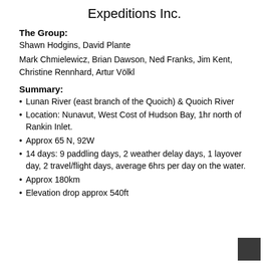Expeditions Inc.
The Group:
Shawn Hodgins, David Plante
Mark Chmielewicz, Brian Dawson, Ned Franks, Jim Kent, Christine Rennhard, Artur Völkl
Summary:
Lunan River (east branch of the Quoich) & Quoich River
Location: Nunavut, West Cost of Hudson Bay, 1hr north of Rankin Inlet.
Approx 65 N, 92W
14 days: 9 paddling days, 2 weather delay days, 1 layover day, 2 travel/flight days, average 6hrs per day on the water.
Approx 180km
Elevation drop approx 540ft